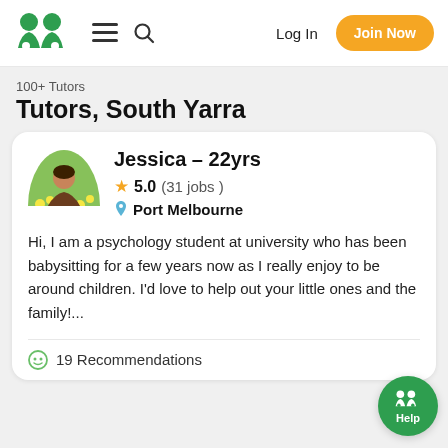Log In  Join Now
100+ Tutors
Tutors, South Yarra
Jessica - 22yrs
5.0 (31 jobs)
Port Melbourne

Hi, I am a psychology student at university who has been babysitting for a few years now as I really enjoy to be around children. I'd love to help out your little ones and the family!...
19 Recommendations